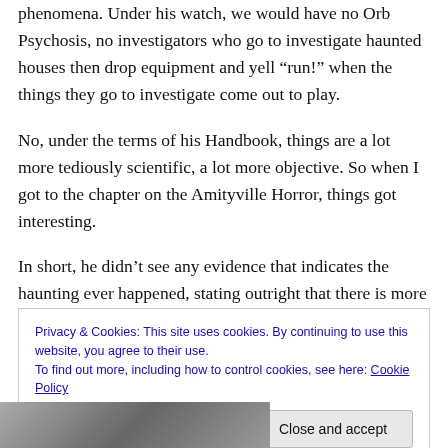phenomena. Under his watch, we would have no Orb Psychosis, no investigators who go to investigate haunted houses then drop equipment and yell “run!” when the things they go to investigate come out to play.
No, under the terms of his Handbook, things are a lot more tediously scientific, a lot more objective. So when I got to the chapter on the Amityville Horror, things got interesting.
In short, he didn’t see any evidence that indicates the haunting ever happened, stating outright that there is more
Privacy & Cookies: This site uses cookies. By continuing to use this website, you agree to their use.
To find out more, including how to control cookies, see here: Cookie Policy
Close and accept
[Figure (photo): Black and white photograph strip at bottom of page showing partial view of a person]